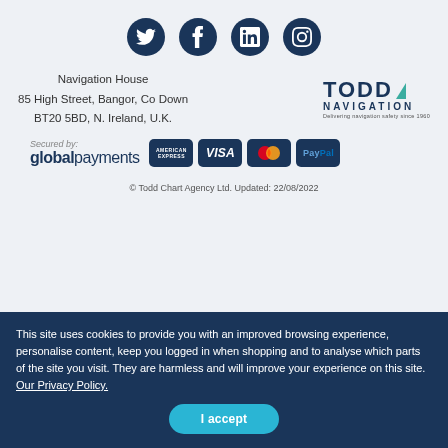[Figure (logo): Social media icons: Twitter, Facebook, LinkedIn, Instagram - dark navy circular icons in a row]
Navigation House
85 High Street, Bangor, Co Down
BT20 5BD, N. Ireland, U.K.
[Figure (logo): Todd Navigation logo - bold navy TODD text with teal triangle, NAVIGATION subtitle, tagline 'Delivering navigation safety since 1960']
[Figure (logo): Secured by: globalpayments logo with American Express, Visa, Mastercard, PayPal payment card badges]
© Todd Chart Agency Ltd. Updated: 22/08/2022
This site uses cookies to provide you with an improved browsing experience, personalise content, keep you logged in when shopping and to analyse which parts of the site you visit. They are harmless and will improve your experience on this site. Our Privacy Policy.